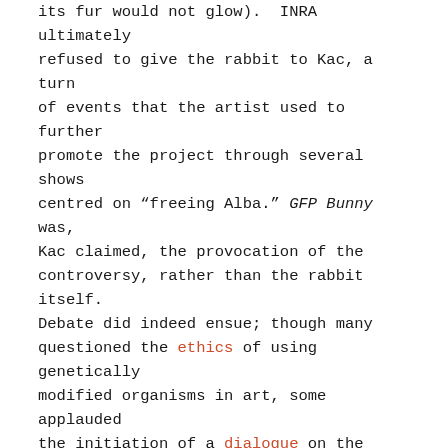its fur would not glow). INRA ultimately refused to give the rabbit to Kac, a turn of events that the artist used to further promote the project through several shows centred on "freeing Alba." GFP Bunny was, Kac claimed, the provocation of the controversy, rather than the rabbit itself. Debate did indeed ensue; though many questioned the ethics of using genetically modified organisms in art, some applauded the initiation of a dialogue on the subject.

In 2001 Kac exhibited a project that consisted of a collection of transgenic animals contained in an acrylic dome. Two